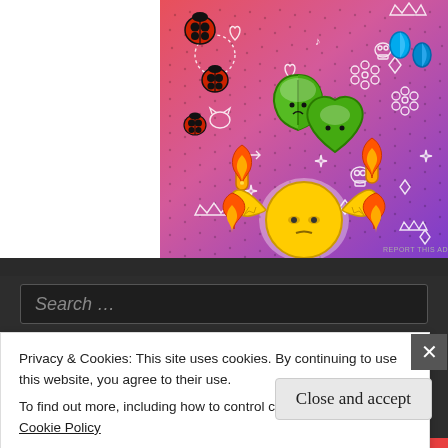[Figure (illustration): Colorful cartoon illustration with gradient background from pink/red to purple. Features kawaii-style characters including leaf characters, a round yellow character with raised arms and flames on hands, blue teardrop shapes, ladybugs, and white doodle elements (music notes, hearts, crowns, skulls, flowers, arrows, diamonds) scattered across a dotted background.]
REPORT THIS AD
Search ...
Privacy & Cookies: This site uses cookies. By continuing to use this website, you agree to their use.
To find out more, including how to control cookies, see here: Cookie Policy
Close and accept